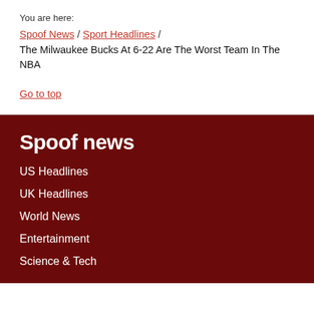You are here:
Spoof News / Sport Headlines / The Milwaukee Bucks At 6-22 Are The Worst Team In The NBA
Go to top
Spoof news
US Headlines
UK Headlines
World News
Entertainment
Science & Tech